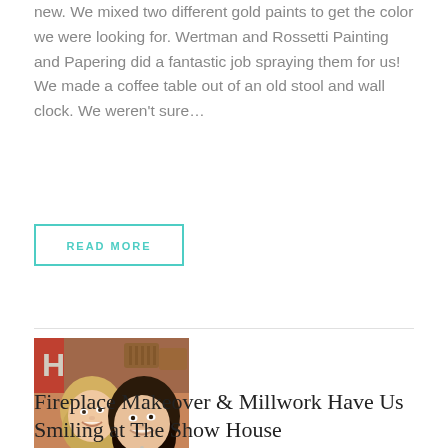new. We mixed two different gold paints to get the color we were looking for. Wertman and Rossetti Painting and Papering did a fantastic job spraying them for us! We made a coffee table out of an old stool and wall clock. We weren't sure…
READ MORE
[Figure (photo): Two smiling women taking a selfie together, in a warm, rustic indoor setting with orange/brown tones]
Fireplace Makeover & Millwork Have Us Smiling at The Show House